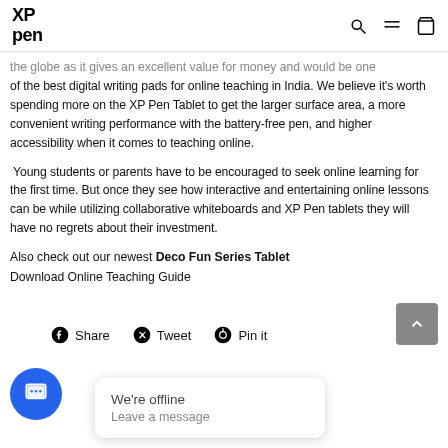XP pen [logo with navigation icons: search, menu, cart]
the globe as it gives an excellent value for money and would be one of the best digital writing pads for online teaching in India. We believe it's worth spending more on the XP Pen Tablet to get the larger surface area, a more convenient writing performance with the battery-free pen, and higher accessibility when it comes to teaching online.
Young students or parents have to be encouraged to seek online learning for the first time. But once they see how interactive and entertaining online lessons can be while utilizing collaborative whiteboards and XP Pen tablets they will have no regrets about their investment.
Also check out our newest Deco Fun Series Tablet
Download Online Teaching Guide
Share  Tweet  Pin it
We're offline
Leave a message